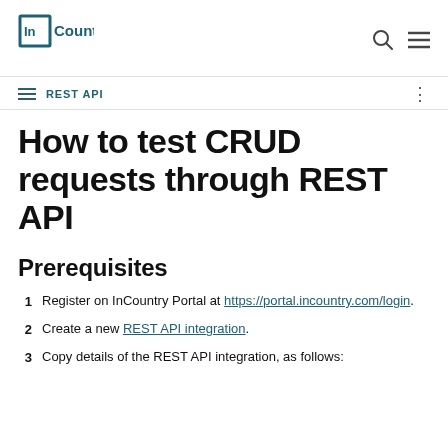[Figure (logo): InCountry logo — stylized bracket/square with 'In' inside, followed by 'Country' text, in dark teal color]
REST API
How to test CRUD requests through REST API
Prerequisites
Register on InCountry Portal at https://portal.incountry.com/login.
Create a new REST API integration.
Copy details of the REST API integration, as follows: